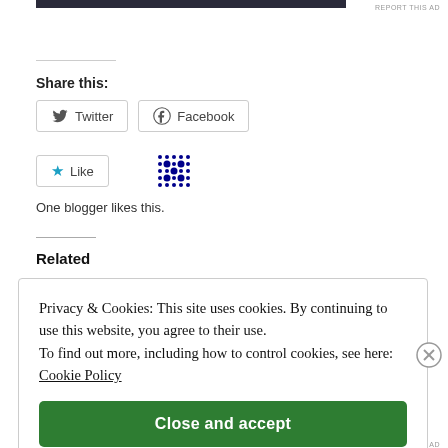REPORT THIS AD
Share this:
[Figure (screenshot): Twitter share button with bird icon]
[Figure (screenshot): Facebook share button with Facebook logo]
[Figure (screenshot): Like button with blue star icon, and avatar grid beside it]
One blogger likes this.
Related
Privacy & Cookies: This site uses cookies. By continuing to use this website, you agree to their use. To find out more, including how to control cookies, see here: Cookie Policy
Close and accept
REPORT THIS AD